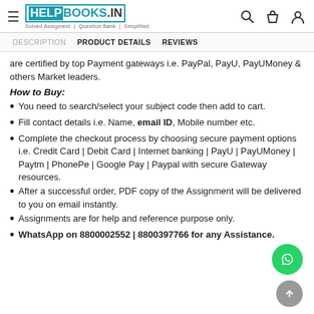HELPBOOKS.IN — Solved Assignment | Question Bank | Simplified
DESCRIPTION   PRODUCT DETAILS   REVIEWS
are certified by top Payment gateways i.e. PayPal, PayU, PayUMoney & others Market leaders.
How to Buy:
You need to search/select your subject code then add to cart.
Fill contact details i.e. Name, email ID, Mobile number etc.
Complete the checkout process by choosing secure payment options i.e. Credit Card | Debit Card | Internet banking | PayU | PayUMoney | Paytm | PhonePe | Google Pay | Paypal with secure Gateway resources.
After a successful order, PDF copy of the Assignment will be delivered to you on email instantly.
Assignments are for help and reference purpose only.
WhatsApp on 8800002552 | 8800397766 for any Assistance.